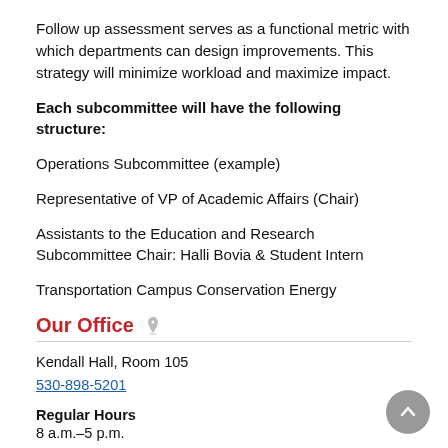Follow up assessment serves as a functional metric with which departments can design improvements. This strategy will minimize workload and maximize impact.
Each subcommittee will have the following structure:
Operations Subcommittee (example)
Representative of VP of Academic Affairs (Chair)
Assistants to the Education and Research Subcommittee Chair: Halli Bovia & Student Intern
Transportation Campus Conservation Energy
Our Office
Kendall Hall, Room 105
530-898-5201
Regular Hours
8 a.m.–5 p.m.